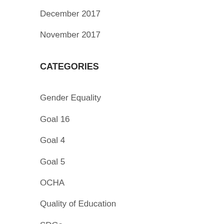December 2017
November 2017
CATEGORIES
Gender Equality
Goal 16
Goal 4
Goal 5
OCHA
Quality of Education
SDGs
UN and SDGs